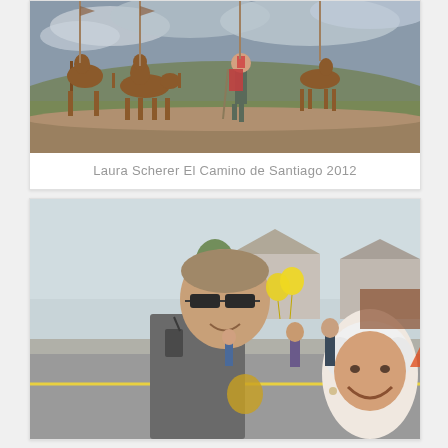[Figure (photo): Outdoor photo showing rusty metal silhouette sculptures of pilgrims on horseback and donkeys, with a real hiker with backpack walking among them on a hilltop, with green valley and cloudy sky in background. El Camino de Santiago.]
Laura Scherer El Camino de Santiago 2012
[Figure (photo): Outdoor street photo showing a smiling male police officer in uniform with sunglasses and radio, posing with a smiling woman with short white hair. Other people visible walking in background on a suburban street.]